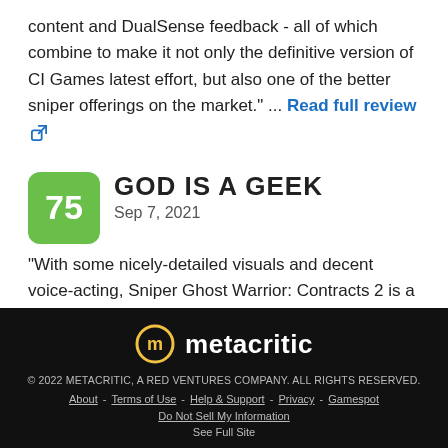content and DualSense feedback - all of which combine to make it not only the definitive version of CI Games latest effort, but also one of the better sniper offerings on the market." ... Read full review
75 GOD IS A GEEK Sep 7, 2021
"With some nicely-detailed visuals and decent voice-acting, Sniper Ghost Warrior: Contracts 2 is a polished offering from CI Games." ... Read full review
© 2022 METACRITIC, A RED VENTURES COMPANY. ALL RIGHTS RESERVED. About - Terms of Use - Help & Support - Privacy - Gamespot Do Not Sell My Information See Full Site